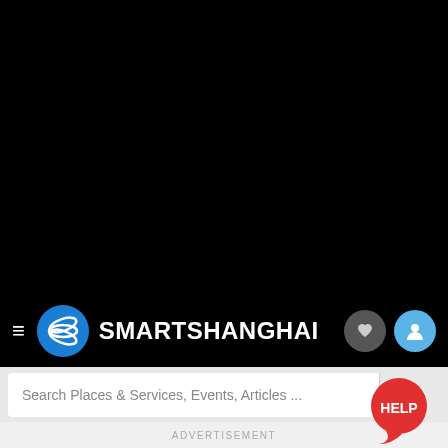[Figure (screenshot): Black area representing a video or image area at the top of the page]
SMARTSHANGHAI
Search Places & Services, Events, Articles ...
ADVERTISEMENT
[Figure (illustration): Red help button bubble with text HELP in bottom right corner]